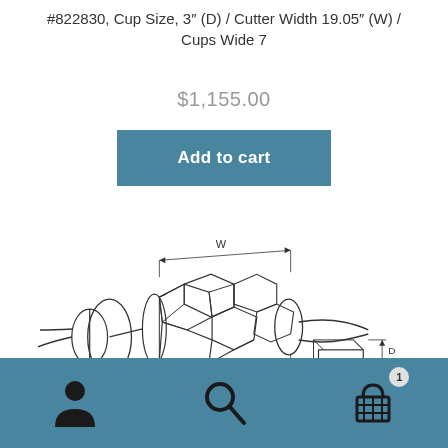#822830, Cup Size, 3" (D) / Cutter Width 19.05" (W) / Cups Wide 7
$1,155.00
[Figure (illustration): Engineering/product diagram showing a rolling cutter tool with hexagonal cup cutters arranged along a central roller, with dimension labels W (width), OD (outer diameter), CD, and D. A separate small cup shape is shown to the lower right with dimension lines.]
[Figure (screenshot): E-commerce bottom navigation bar with user account icon, search icon, and shopping cart icon with badge showing 1 item]